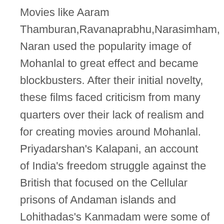Movies like Aaram Thamburan,Ravanaprabhu,Narasimham, Naran used the popularity image of Mohanlal to great effect and became blockbusters. After their initial novelty, these films faced criticism from many quarters over their lack of realism and for creating movies around Mohanlal.
Priyadarshan's Kalapani, an account of India's freedom struggle against the British that focused on the Cellular prisons of Andaman islands and Lohithadas's Kanmadam were some of his notable films during the late 90's. In 1997 Mohanlal's film Guru which based on communalism in kerala,directed by Rajiv Anchal was selected by the Government of India as official entry for Academy Award for Best Foreign Language Film.
Mohanlal getting noticed outside the mollywood at these time.He acted in his first non-Malayalam movie when popular director Mani Ratnam roped him in for the Tamil